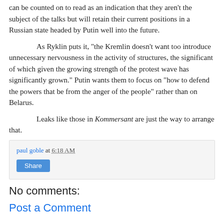can be counted on to read as an indication that they aren't the subject of the talks but will retain their current positions in a Russian state headed by Putin well into the future.
As Ryklin puts it, "the Kremlin doesn't want too introduce unnecessary nervousness in the activity of structures, the significant of which given the growing strength of the protest wave has significantly grown." Putin wants them to focus on "how to defend the powers that be from the anger of the people" rather than on Belarus.
Leaks like those in Kommersant are just the way to arrange that.
paul goble at 6:18 AM
Share
No comments:
Post a Comment